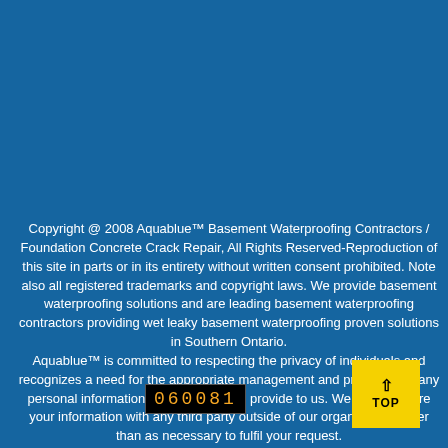Copyright @ 2008 Aquablue™ Basement Waterproofing Contractors / Foundation Concrete Crack Repair, All Rights Reserved-Reproduction of this site in parts or in its entirety without written consent prohibited. Note also all registered trademarks and copyright laws. We provide basement waterproofing solutions and are leading basement waterproofing contractors providing wet leaky basement waterproofing proven solutions in Southern Ontario. Aquablue™ is committed to respecting the privacy of individuals and recognizes a need for the appropriate management and protection of any personal information that you agree to provide to us. We will not share your information with any third party outside of our organization, other than as necessary to fulfil your request.
[Figure (other): Digital counter/odometer display showing the number 060081 in orange LED-style digits on black background]
[Figure (other): Yellow button with upward-pointing arrow and the text TOP, used as a back-to-top navigation button]